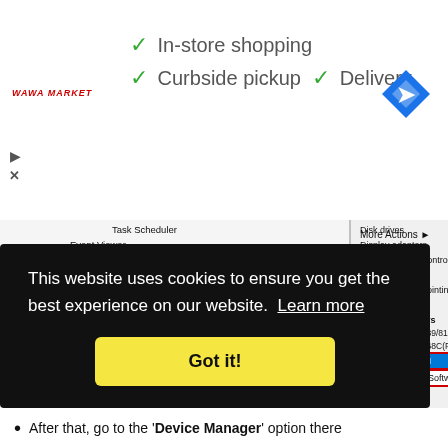[Figure (screenshot): Ad banner with green checkmarks showing 'In-store shopping', 'Curbside pickup', 'Delivery', Wawa logo, play/close buttons, Google diamond logo]
[Figure (screenshot): Windows Device Manager screenshot showing context menu with 'USB2.0 WLAN' selected and 'Update Driver Software...' option highlighted, with red boxes and blue arrows pointing to Device Manager and Update Driver Software options]
This website uses cookies to ensure you get the best experience on our website. Learn more
Got it!
After that, go to the 'Device Manager' option there